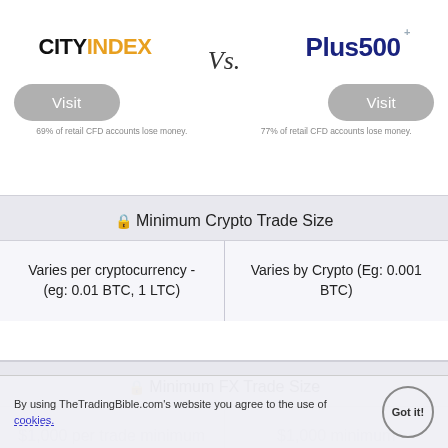[Figure (logo): City Index logo - black 'CITY' and yellow 'INDEX' text]
Vs.
[Figure (logo): Plus500 logo - dark blue text with grey plus superscript]
Visit
Visit
69% of retail CFD accounts lose money.
77% of retail CFD accounts lose money.
🔒 Minimum Crypto Trade Size
Varies per cryptocurrency - (eg: 0.01 BTC, 1 LTC)
Varies by Crypto (Eg: 0.001 BTC)
🔒 Minimum FX Trade Size
By using TheTradingBible.com's website you agree to the use of cookies.